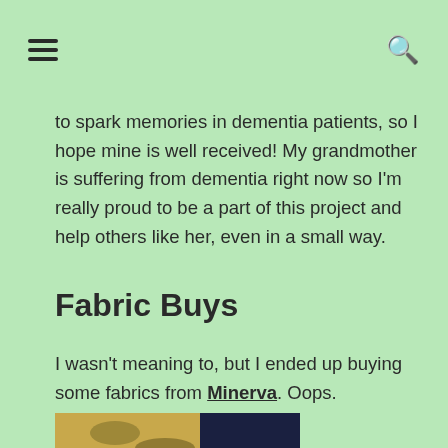[hamburger menu] [search icon]
to spark memories in dementia patients, so I hope mine is well received! My grandmother is suffering from dementia right now so I'm really proud to be a part of this project and help others like her, even in a small way.
Fabric Buys
I wasn't meaning to, but I ended up buying some fabrics from Minerva. Oops.
[Figure (photo): Photo of several folded fabrics stacked together — colorful patterned fabrics in pink/purple/red and dark navy/blue fabrics, viewed from above]